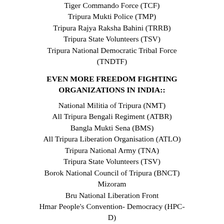Tiger Commando Force (TCF)
Tripura Mukti Police (TMP)
Tripura Rajya Raksha Bahini (TRRB)
Tripura State Volunteers (TSV)
Tripura National Democratic Tribal Force (TNDTF)
EVEN MORE FREEDOM FIGHTING ORGANIZATIONS IN INDIA::
National Militia of Tripura (NMT)
All Tripura Bengali Regiment (ATBR)
Bangla Mukti Sena (BMS)
All Tripura Liberation Organisation (ATLO)
Tripura National Army (TNA)
Tripura State Volunteers (TSV)
Borok National Council of Tripura (BNCT)
Mizoram
Bru National Liberation Front
Hmar People's Convention- Democracy (HPC-D)
Arunachal Dragon Force (ADF)
Communist Party of India-Maoist (CPI-Maoist)
People's War Group